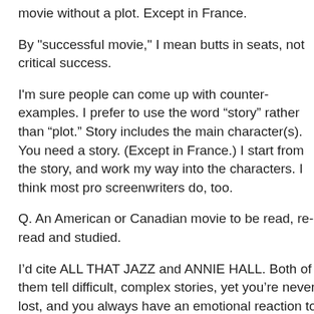movie without a plot. Except in France.
By "successful movie," I mean butts in seats, not critical success.
I'm sure people can come up with counter-examples. I prefer to use the word “story” rather than “plot.” Story includes the main character(s). You need a story. (Except in France.) I start from the story, and work my way into the characters. I think most pro screenwriters do, too.
Q. An American or Canadian movie to be read, re-read and studied.
I’d cite ALL THAT JAZZ and ANNIE HALL. Both of them tell difficult, complex stories, yet you’re never lost, and you always have an emotional reaction to what's going on.
Q. A foreign movie to be read, re-read and studied.
DAY FOR NIGHT made me want to go into the film business. However, I was 20, and I figured I was too old.